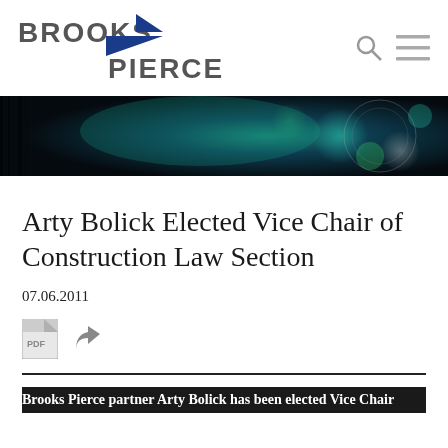[Figure (logo): Brooks Pierce law firm logo with blue arrow/wing graphic between 'BROOKS' and 'PIERCE' text]
[Figure (photo): Dark hero banner image showing a camera lens with colorful bokeh reflections in teal, green, and dark tones]
Arty Bolick Elected Vice Chair of Construction Law Section
07.06.2011
Brooks Pierce partner Arty Bolick has been elected Vice Chair